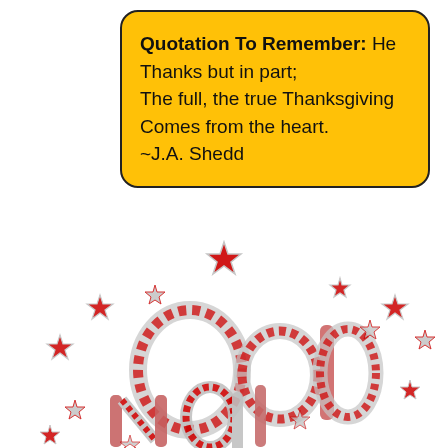Quotation To Remember: He Thanks but in part; The full, the true Thanksgiving Comes from the heart. ~J.A. Shedd
[Figure (illustration): Decorative red and silver glittery star-studded ornate script text reading 'Good Night' (partially visible, cropped), with swirling ornamental letters covered in red and silver glitter stars]